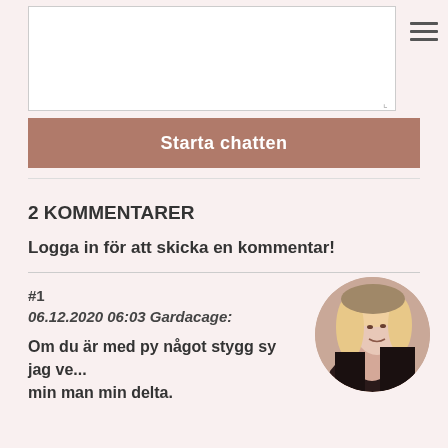[textarea input field]
Starta chatten
2 KOMMENTARER
Logga in för att skicka en kommentar!
#1
06.12.2020 06:03 Gardacage:

Om du är med py något stygg sy jag ve... min man min delta.
[Figure (photo): Circular avatar photo of a person with blonde wavy hair wearing dark clothing, posing with head tilted]